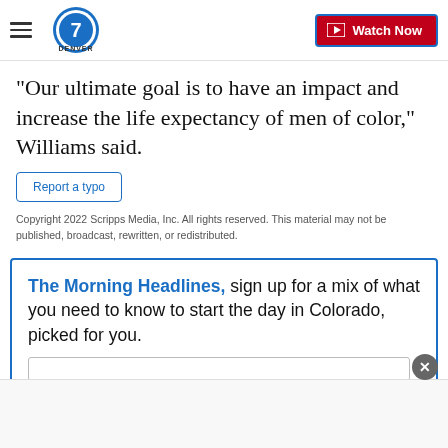Denver7 — Watch Now
“Our ultimate goal is to have an impact and increase the life expectancy of men of color,” Williams said.
Report a typo
Copyright 2022 Scripps Media, Inc. All rights reserved. This material may not be published, broadcast, rewritten, or redistributed.
The Morning Headlines, sign up for a mix of what you need to know to start the day in Colorado, picked for you.